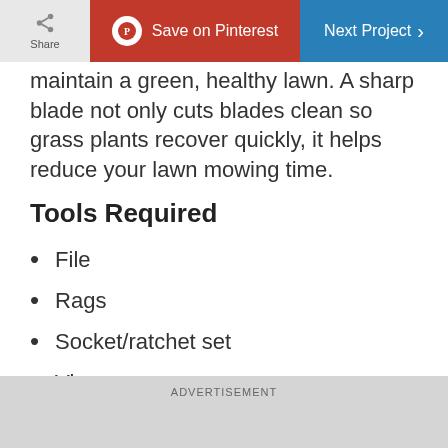Share | Save on Pinterest | Next Project
maintain a green, healthy lawn. A sharp blade not only cuts blades clean so grass plants recover quickly, it helps reduce your lawn mowing time.
Tools Required
File
Rags
Socket/ratchet set
Vise
Materials Required
ADVERTISEMENT